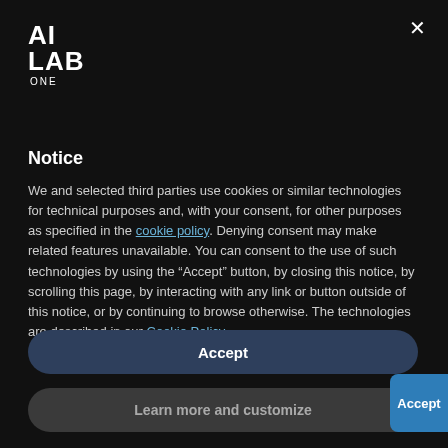[Figure (logo): AI LAB ONE logo in white on black background]
Notice
We and selected third parties use cookies or similar technologies for technical purposes and, with your consent, for other purposes as specified in the cookie policy. Denying consent may make related features unavailable. You can consent to the use of such technologies by using the "Accept" button, by closing this notice, by scrolling this page, by interacting with any link or button outside of this notice, or by continuing to browse otherwise. The technologies are described in our Cookie Policy.